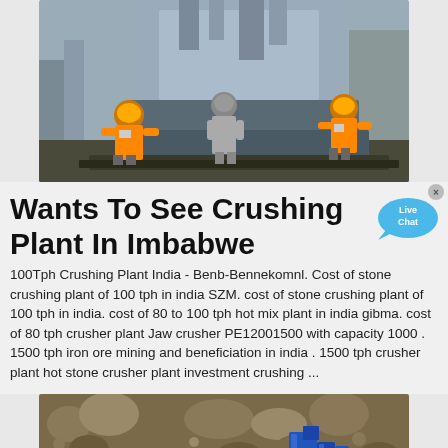[Figure (photo): Workers in orange high-visibility vests and hard hats working on a large industrial crushing machine on a construction/mining site.]
Wants To See Crushing Plant In Imbabwe
100Tph Crushing Plant India - Benb-Bennekomnl. Cost of stone crushing plant of 100 tph in india SZM. cost of stone crushing plant of 100 tph in india. cost of 80 to 100 tph hot mix plant in india gibma. cost of 80 tph crusher plant Jaw crusher PE12001500 with capacity 1000 . 1500 tph iron ore mining and beneficiation in india . 1500 tph crusher plant hot stone crusher plant investment crushing ...
[Figure (photo): Close-up of rocky/stony ground with blue mining or crushing machinery visible at the bottom of the frame.]